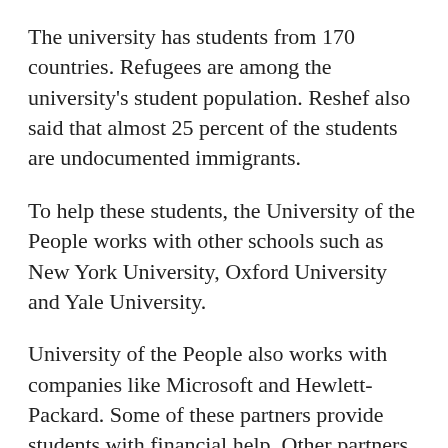The university has students from 170 countries. Refugees are among the university's student population. Reshef also said that almost 25 percent of the students are undocumented immigrants.
To help these students, the University of the People works with other schools such as New York University, Oxford University and Yale University.
University of the People also works with companies like Microsoft and Hewlett-Packard. Some of these partners provide students with financial help. Other partners offer students internships.
The Distance Education Accrediting Commission or DEAC is a U.S. organization that reviews the quality of online schools and schools without physical classrooms.